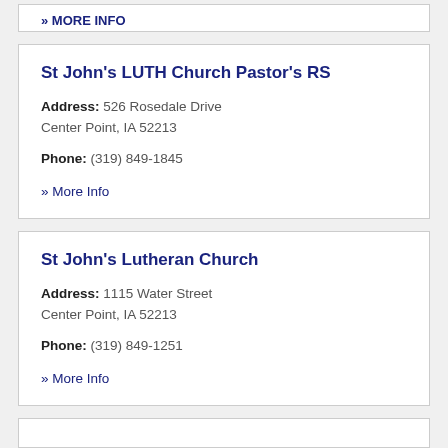MORE INFO (partial, top)
St John's LUTH Church Pastor's RS
Address: 526 Rosedale Drive
Center Point, IA 52213
Phone: (319) 849-1845
» More Info
St John's Lutheran Church
Address: 1115 Water Street
Center Point, IA 52213
Phone: (319) 849-1251
» More Info